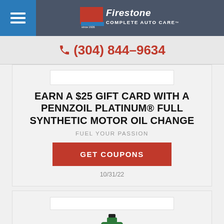Firestone Complete Auto Care
(304) 844-9634
EARN A $25 GIFT CARD WITH A PENNZOIL PLATINUM® FULL SYNTHETIC MOTOR OIL CHANGE
FUEL YOUR PASSION
GET COUPONS
10/31/22
[Figure (photo): Quaker State motor oil bottle (green), partially visible at bottom of page]